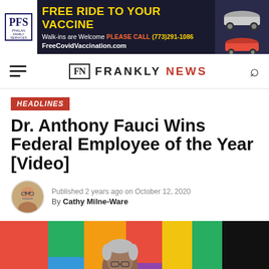[Figure (other): Advertisement banner for Phalan Family Services - Free Ride to Your Vaccine. Walk-ins Welcome. PLEASE CALL (773)291-1086. FreeCovidVaccination.com. Shows cars on right side.]
FRANKLY NEWS
HEADLINES
Dr. Anthony Fauci Wins Federal Employee of the Year [Video]
Published 2 years ago on October 12, 2020
By Cathy Milne-Ware
[Figure (photo): Photo of Dr. Anthony Fauci in front of colorful background with dark right side]